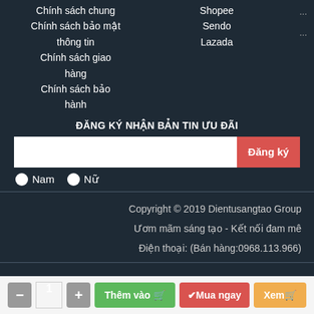Chính sách chung
Shopee
Chính sách bảo mật thông tin
Sendo
Lazada
Chính sách giao hàng
Chính sách bảo hành
ĐĂNG KÝ NHẬN BẢN TIN ƯU ĐÃI
Đăng ký
Nam  Nữ
Copyright © 2019 Dientusangtao Group
Ươm mãm sáng tạo - Kết nối đam mê
Điện thoại: (Bán hàng:0968.113.966)
- 1 + Thêm vào  ✔Mua ngay  Xem